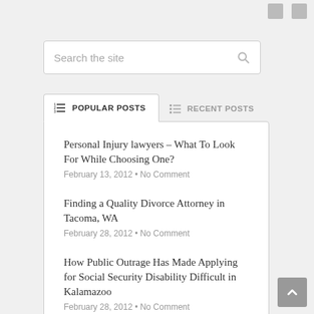Search the site
POPULAR POSTS
RECENT POSTS
Personal Injury lawyers – What To Look For While Choosing One?
February 13, 2012 • No Comment
Finding a Quality Divorce Attorney in Tacoma, WA
February 28, 2012 • No Comment
How Public Outrage Has Made Applying for Social Security Disability Difficult in Kalamazoo
February 28, 2012 • No Comment
Personal Injury Lawyer, Omaha – Mistakes to Avoid when Choosing a Lawyer